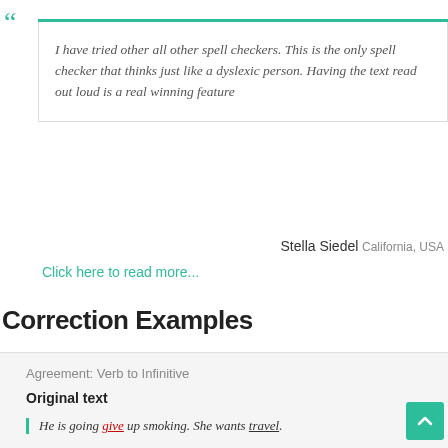I have tried other all other spell checkers. This is the only spell checker that thinks just like a dyslexic person. Having the text read out loud is a real winning feature
Stella Siedel California, USA
Click here to read more...
Correction Examples
Agreement: Verb to Infinitive
Original text
He is going give up smoking. She wants travel.